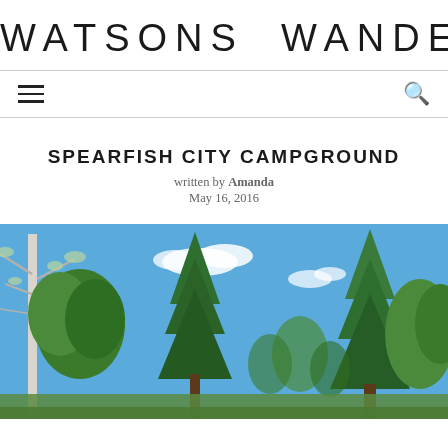WATSONS WANDER
SPEARFISH CITY CAMPGROUND
written by Amanda
May 16, 2016
[Figure (photo): Looking up through tree canopies at a bright blue sky with scattered white clouds. Trees include bare white birch, tall green conifers, and leafy green trees. Outdoor/nature scene consistent with a campground setting.]